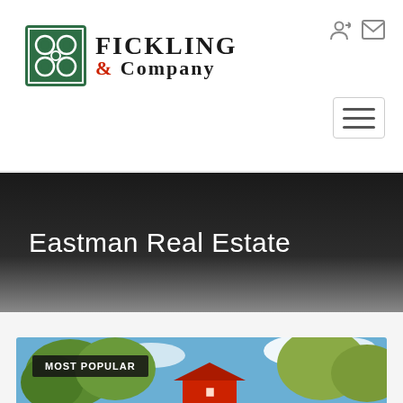[Figure (logo): Fickling & Company real estate logo with green square floral icon and serif text]
Eastman Real Estate
MOST POPULAR
[Figure (photo): Outdoor real estate photo showing a red barn structure with trees and blue cloudy sky]